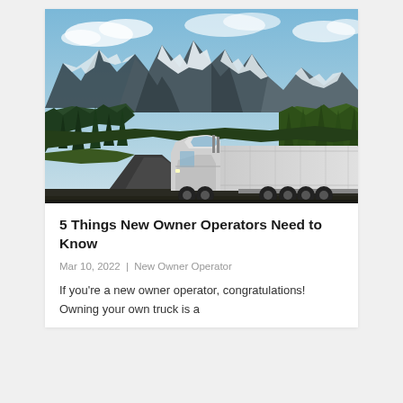[Figure (photo): A white semi-truck and trailer driving on a mountain road with snow-capped peaks, dark green conifer forests on the slopes, and a partly cloudy blue sky in the background.]
5 Things New Owner Operators Need to Know
Mar 10, 2022 | New Owner Operator
If you're a new owner operator, congratulations! Owning your own truck is a